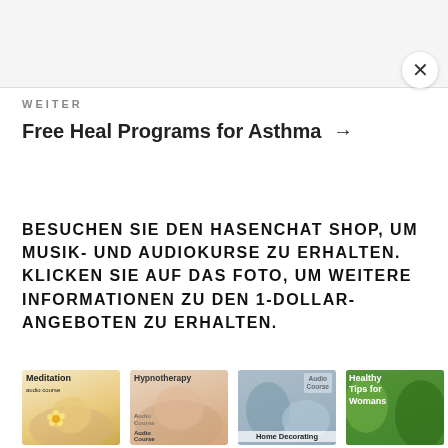WEITER
Free Heal Programs for Asthma →
BESUCHEN SIE DEN HASENCHAT SHOP, UM MUSIK- UND AUDIOKURSE ZU ERHALTEN. KLICKEN SIE AUF DAS FOTO, UM WEITERE INFORMATIONEN ZU DEN 1-DOLLAR-ANGEBOTEN ZU ERHALTEN.
[Figure (photo): Four book/audio course covers in a row: Meditation audio course, Hypnotherapy audio course (Audio Course), Home Decorating audio course, and Healthy Tips for Womans.]